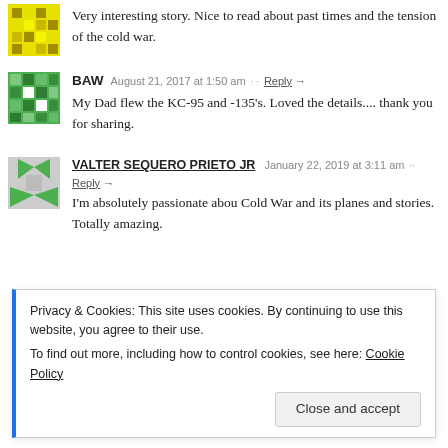Very interesting story. Nice to read about past times and the tension of the cold war.
BAW  August 21, 2017 at 1:50 am  ·  Reply →
My Dad flew the KC-95 and -135's. Loved the details.... thank you for sharing.
VALTER SEQUERO PRIETO JR  January 22, 2019 at 3:11 am  ·· Reply →
I'm absolutely passionate abou Cold War and its planes and stories. Totally amazing.
Privacy & Cookies: This site uses cookies. By continuing to use this website, you agree to their use. To find out more, including how to control cookies, see here: Cookie Policy
Close and accept